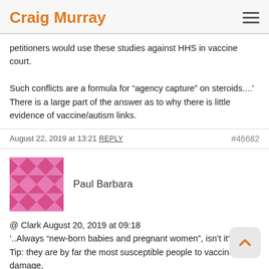Craig Murray
petitioners would use these studies against HHS in vaccine court.

Such conflicts are a formula for “agency capture” on steroids....’ There is a large part of the answer as to why there is little evidence of vaccine/autism links.
August 22, 2019 at 13:21   REPLY   #46682
Paul Barbara
@ Clark August 20, 2019 at 09:18
‘..Always “new-born babies and pregnant women”, isn’t it?...’
Tip: they are by far the most susceptible people to vaccine damage.
If I was canine, I’d recognise dog whistles – as a human, the sound frequency is out of my hearing range.